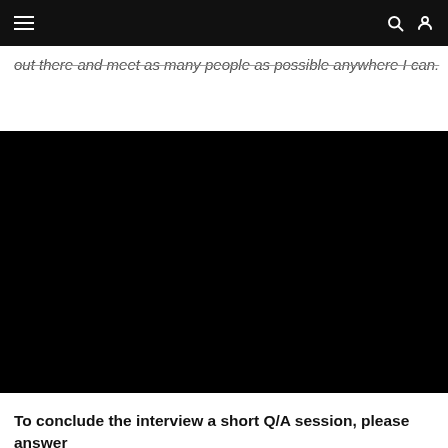≡  🔍 👤
out there and meet as many people as possible anywhere I can.
[Figure (screenshot): Black video embed placeholder block]
To conclude the interview a short Q/A session, please answer